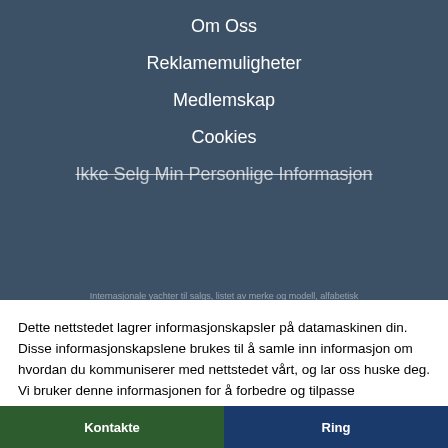Om Oss
Reklamemuligheter
Medlemskap
Cookies
Ikke Selg Min Personlige Informasjon
Dette nettstedet lagrer informasjonskapsler på datamaskinen din. Disse informasjonskapslene brukes til å samle inn informasjon om hvordan du kommuniserer med nettstedet vårt, og lar oss huske deg. Vi bruker denne informasjonen for å forbedre og tilpasse nettleseropplevelsen din, og for analyse og beregninger om alle som besøker både på dette nettstedet og andre medier. Se retningslinjene våre for informasjonskapsler for å finne ut mer om informasjonskapslene vi bruker.

Hvis du avslår, vil ikke informasjonen din bli sporet når du besøker dette nettstedet. Én enkelt informasjonskapsel vil bli brukt i nettleseren din for å huske at du ikke ønsker å bli sporet.
Slå av informasjonskapsler
Dette er greit for meg
Kontakte
Ring